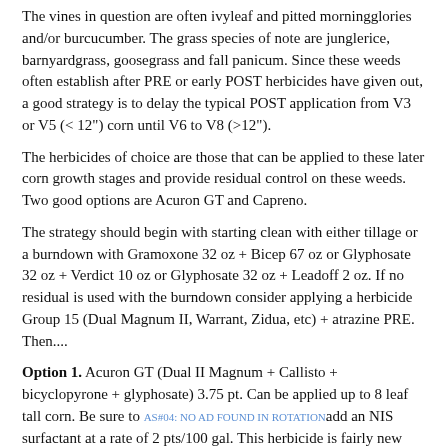The vines in question are often ivyleaf and pitted morningglories and/or burcucumber. The grass species of note are junglerice, barnyardgrass, goosegrass and fall panicum. Since these weeds often establish after PRE or early POST herbicides have given out, a good strategy is to delay the typical POST application from V3 or V5 (< 12") corn until V6 to V8 (>12").
The herbicides of choice are those that can be applied to these later corn growth stages and provide residual control on these weeds. Two good options are Acuron GT and Capreno.
The strategy should begin with starting clean with either tillage or a burndown with Gramoxone 32 oz + Bicep 67 oz or Glyphosate 32 oz + Verdict 10 oz or Glyphosate 32 oz + Leadoff 2 oz. If no residual is used with the burndown consider applying a herbicide Group 15 (Dual Magnum II, Warrant, Zidua, etc) + atrazine PRE. Then....
Option 1. Acuron GT (Dual II Magnum + Callisto + bicyclopyrone + glyphosate) 3.75 pt. Can be applied up to 8 leaf tall corn. Be sure to add an NIS surfactant at a rate of 2 pts/100 gal. This herbicide is fairly new and is essentially Halex GT with the HPPD inhibitor